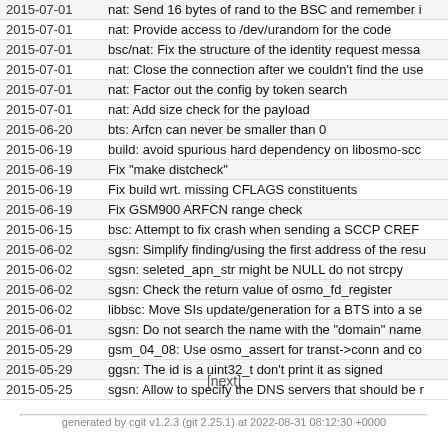| Date | Message |
| --- | --- |
| 2015-07-01 | nat: Send 16 bytes of rand to the BSC and remember i |
| 2015-07-01 | nat: Provide access to /dev/urandom for the code |
| 2015-07-01 | bsc/nat: Fix the structure of the identity request messa |
| 2015-07-01 | nat: Close the connection after we couldn't find the use |
| 2015-07-01 | nat: Factor out the config by token search |
| 2015-07-01 | nat: Add size check for the payload |
| 2015-06-20 | bts: Arfcn can never be smaller than 0 |
| 2015-06-19 | build: avoid spurious hard dependency on libosmo-scc |
| 2015-06-19 | Fix "make distcheck" |
| 2015-06-19 | Fix build wrt. missing CFLAGS constituents |
| 2015-06-19 | Fix GSM900 ARFCN range check |
| 2015-06-15 | bsc: Attempt to fix crash when sending a SCCP CREF |
| 2015-06-02 | sgsn: Simplify finding/using the first address of the resu |
| 2015-06-02 | sgsn: seleted_apn_str might be NULL do not strcpy |
| 2015-06-02 | sgsn: Check the return value of osmo_fd_register |
| 2015-06-02 | libbsc: Move SIs update/generation for a BTS into a se |
| 2015-06-01 | sgsn: Do not search the name with the "domain" name |
| 2015-05-29 | gsm_04_08: Use osmo_assert for transt->conn and co |
| 2015-05-29 | ggsn: The id is a uint32_t don't print it as signed |
| 2015-05-25 | sgsn: Allow to specify the DNS servers that should be r |
[next]
generated by cgit v1.2.3 (git 2.25.1) at 2022-08-31 08:12:30 +0000